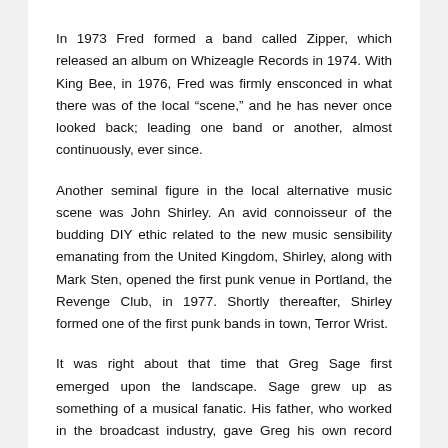In 1973 Fred formed a band called Zipper, which released an album on Whizeagle Records in 1974. With King Bee, in 1976, Fred was firmly ensconced in what there was of the local "scene," and he has never once looked back; leading one band or another, almost continuously, ever since.
Another seminal figure in the local alternative music scene was John Shirley. An avid connoisseur of the budding DIY ethic related to the new music sensibility emanating from the United Kingdom, Shirley, along with Mark Sten, opened the first punk venue in Portland, the Revenge Club, in 1977. Shortly thereafter, Shirley formed one of the first punk bands in town, Terror Wrist.
It was right about that time that Greg Sage first emerged upon the landscape. Sage grew up as something of a musical fanatic. His father, who worked in the broadcast industry, gave Greg his own record cutting lathe when he was in the 7th grade. From that point on, Greg spent